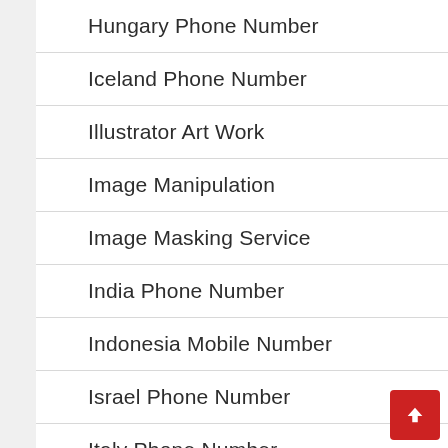Hungary Phone Number
Iceland Phone Number
Illustrator Art Work
Image Manipulation
Image Masking Service
India Phone Number
Indonesia Mobile Number
Israel Phone Number
Italy Phone Number